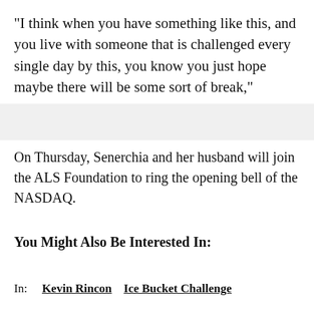"I think when you have something like this, and you live with someone that is challenged every single day by this, you know you just hope maybe there will be some sort of break," Senerchia said.
On Thursday, Senerchia and her husband will join the ALS Foundation to ring the opening bell of the NASDAQ.
You Might Also Be Interested In:
In: Kevin Rincon   Ice Bucket Challenge